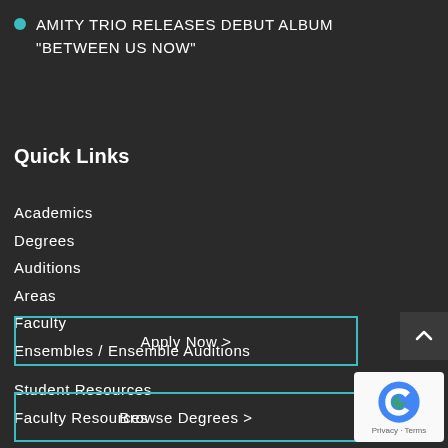AMITY TRIO RELEASES DEBUT ALBUM "BETWEEN US NOW"
Quick Links
Academics
Degrees
Auditions
Areas
Faculty
Ensembles / Ensemble Auditions
Student Resources
Faculty Resources
Musician's Wellness
Apply Now >
Browse Degrees >